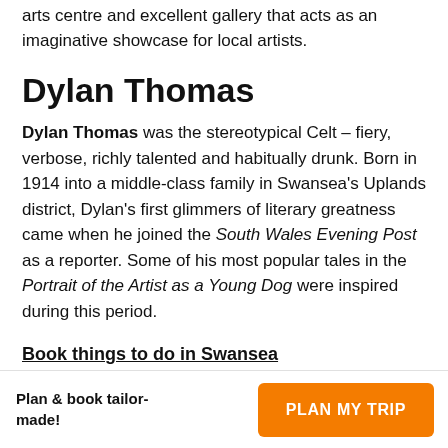arts centre and excellent gallery that acts as an imaginative showcase for local artists.
Dylan Thomas
Dylan Thomas was the stereotypical Celt – fiery, verbose, richly talented and habitually drunk. Born in 1914 into a middle-class family in Swansea's Uplands district, Dylan's first glimmers of literary greatness came when he joined the South Wales Evening Post as a reporter. Some of his most popular tales in the Portrait of the Artist as a Young Dog were inspired during this period.
Book things to do in Swansea
Plan & book tailor-made!
PLAN MY TRIP